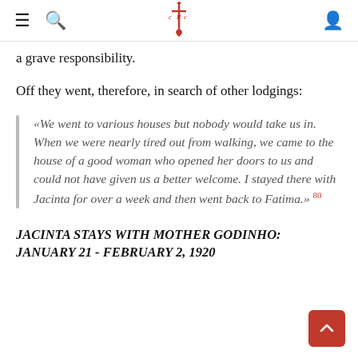≡ 🔍 [CRC logo] 👤
a grave responsibility.
Off they went, therefore, in search of other lodgings:
«We went to various houses but nobody would take us in. When we were nearly tired out from walking, we came to the house of a good woman who opened her doors to us and could not have given us a better welcome. I stayed there with Jacinta for over a week and then went back to Fatima.» 80
JACINTA STAYS WITH MOTHER GODINHO: JANUARY 21 - FEBRUARY 2, 1920